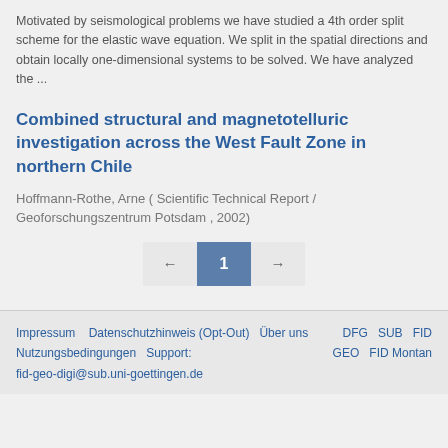Motivated by seismological problems we have studied a 4th order split scheme for the elastic wave equation. We split in the spatial directions and obtain locally one-dimensional systems to be solved. We have analyzed the ...
Combined structural and magnetotelluric investigation across the West Fault Zone in northern Chile
Hoffmann-Rothe, Arne ( Scientific Technical Report / Geoforschungszentrum Potsdam , 2002)
← 1 →
Impressum  Datenschutzhinweis (Opt-Out)  Über uns  Nutzungsbedingungen  Support: fid-geo-digi@sub.uni-goettingen.de  DFG  SUB FID GEO  FID Montan